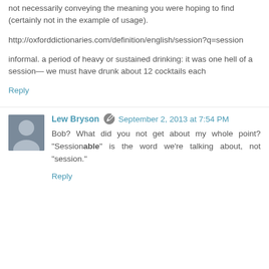not necessarily conveying the meaning you were hoping to find (certainly not in the example of usage).
http://oxforddictionaries.com/definition/english/session?q=session
informal. a period of heavy or sustained drinking: it was one hell of a session— we must have drunk about 12 cocktails each
Reply
Lew Bryson · September 2, 2013 at 7:54 PM
Bob? What did you not get about my whole point? "Sessionable" is the word we're talking about, not "session."
Reply